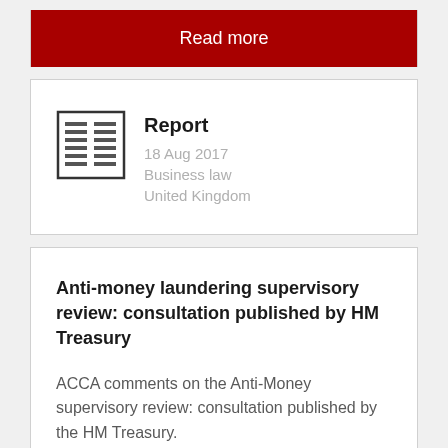Read more
[Figure (illustration): Report document icon with two columns of text lines]
Report
18 Aug 2017
Business law
United Kingdom
Anti-money laundering supervisory review: consultation published by HM Treasury
ACCA comments on the Anti-Money supervisory review: consultation published by the HM Treasury.